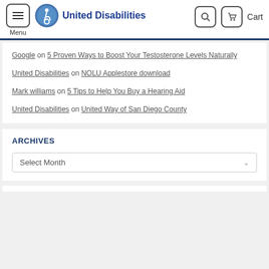Menu | United Disabilities | Cart
Google on 5 Proven Ways to Boost Your Testosterone Levels Naturally
United Disabilities on NOLU Applestore download
Mark williams on 5 Tips to Help You Buy a Hearing Aid
United Disabilities on United Way of San Diego County
ARCHIVES
Select Month